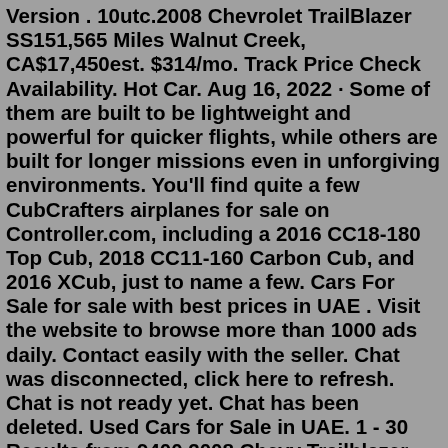Version . 10utc.2008 Chevrolet TrailBlazer SS151,565 Miles Walnut Creek, CA$17,450est. $314/mo. Track Price Check Availability. Hot Car. Aug 16, 2022 · Some of them are built to be lightweight and powerful for quicker flights, while others are built for longer missions even in unforgiving environments. You'll find quite a few CubCrafters airplanes for sale on Controller.com, including a 2016 CC18-180 Top Cub, 2018 CC11-160 Carbon Cub, and 2016 XCub, just to name a few. Cars For Sale for sale with best prices in UAE . Visit the website to browse more than 1000 ads daily. Contact easily with the seller. Chat was disconnected, click here to refresh. Chat is not ready yet. Chat has been deleted. Used Cars for Sale in UAE. 1 - 30 Results from 9400.2008 Chevy Trailblazer SS. Should just call it an SS and be done with it. It has a very powerful 6.0L V8 motor. 440 Auto Sales is a family owned and operated business located in Parma, OH. Our mission is to offer quality Pre-owed vehicles at aggressive prices while providing great customer service.Chevrolet Trailblazer SS 6.0L and